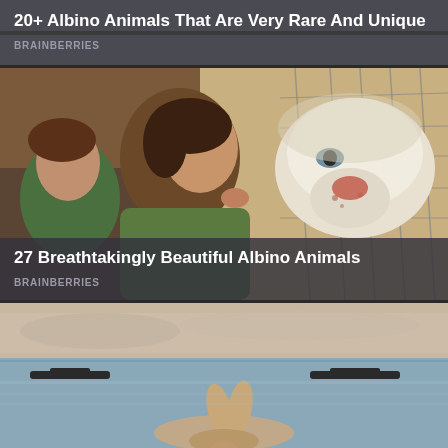20+ Albino Animals That Are Very Rare And Unique
BRAINBERRIES
[Figure (photo): Woman kissing a white albino lion through a wire fence, close-up shot]
27 Breathtakingly Beautiful Albino Animals
BRAINBERRIES
[Figure (photo): Person lying on a beach at dusk/sunset with calm ocean water and dark rock formations in the background]